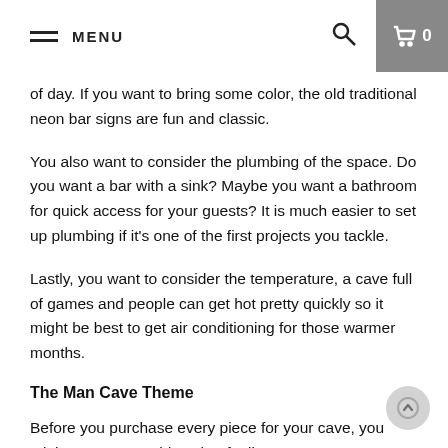MENU
of day. If you want to bring some color, the old traditional neon bar signs are fun and classic.
You also want to consider the plumbing of the space. Do you want a bar with a sink? Maybe you want a bathroom for quick access for your guests? It is much easier to set up plumbing if it's one of the first projects you tackle.
Lastly, you want to consider the temperature, a cave full of games and people can get hot pretty quickly so it might be best to get air conditioning for those warmer months.
The Man Cave Theme
Before you purchase every piece for your cave, you might want to consider what feeling you want to create. What theme evokes your personality and is identifiably you? Each piece must be chosen with your theme in mind or you can really throw off the whole atmosphere. You don't want your